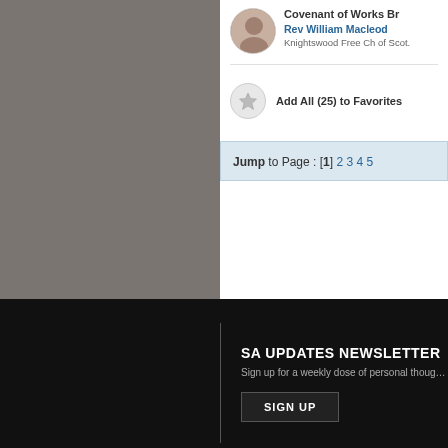[Figure (screenshot): Cropped screenshot of a sermon/audio website showing a speaker listing with avatar photo, name Rev William Macleod, church Knightswood Free Ch of Scot., an Add All (25) to Favorites button with star icon, and a Jump to Page navigation bar showing pages 1-5.]
Covenant of Works Br
Rev William Macleod
Knightswood Free Ch of Scot.
Add All (25) to Favorites
Jump to Page : [1] 2 3 4 5
SA UPDATES NEWSLETTER
Sign up for a weekly dose of personal thoug…
SIGN UP
[Figure (logo): Paperback Bible logo with stylized sailboat/flame icon]
MOBILE
iPhone + iPad New
ChurchOne App New
Watch
Android New
ChurchOne App New
Fire Tablet
HELP
Knowledg…
Broa…
Liste…
Q&A…
Uploadin…
Unloadin…